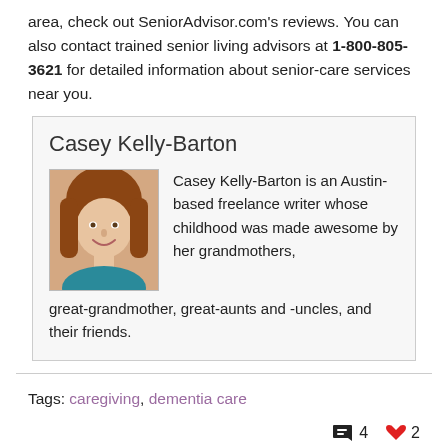area, check out SeniorAdvisor.com's reviews. You can also contact trained senior living advisors at 1-800-805-3621 for detailed information about senior-care services near you.
Casey Kelly-Barton
[Figure (photo): Headshot photo of Casey Kelly-Barton, a woman with brown hair smiling]
Casey Kelly-Barton is an Austin-based freelance writer whose childhood was made awesome by her grandmothers, great-grandmother, great-aunts and -uncles, and their friends.
Tags: caregiving, dementia care
4 comments, 2 likes